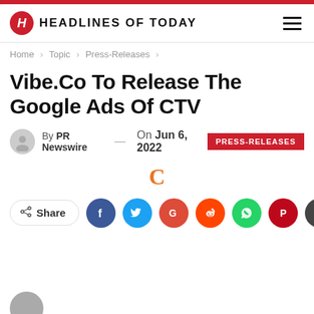HEADLINES OF TODAY
Home > Topic > Press-Releases >
Vibe.Co To Release The Google Ads Of CTV
By PR Newswire — On Jun 6, 2022 | PRESS-RELEASES
[Figure (other): Orange letter C symbol]
[Figure (other): Social share row with Share button and social media icons: Facebook, Twitter, Google, Reddit, WhatsApp, Pinterest, Email]